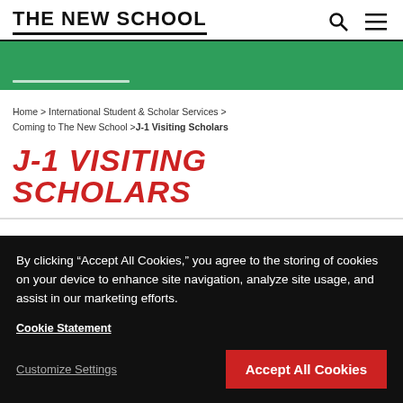THE NEW SCHOOL
Home > International Student & Scholar Services > Coming to The New School > J-1 Visiting Scholars
J-1 VISITING SCHOLARS
Coming to The New School
By clicking "Accept All Cookies," you agree to the storing of cookies on your device to enhance site navigation, analyze site usage, and assist in our marketing efforts.
Cookie Statement
Customize Settings
Accept All Cookies